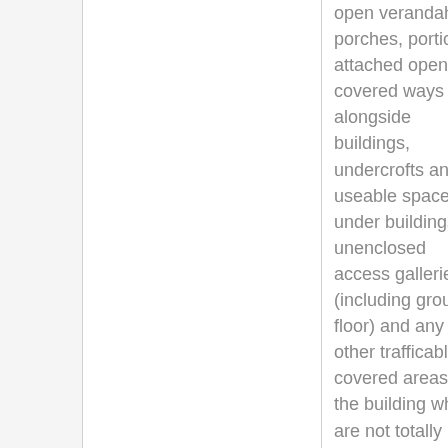open verandahs, porches, porticos, attached open covered ways alongside buildings, undercrofts and useable space under buildings, unenclosed access galleries (including ground floor) and any other trafficable covered areas of the building which are not totally enclosed by full height walls, computed my
included measure may be f the outsi centre o inside of external v dependir the mode and pla used to develop t inventory